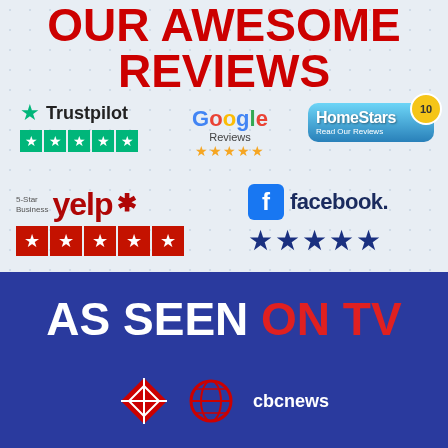OUR AWESOME REVIEWS
[Figure (logo): Trustpilot logo with green star and 5 green star rating boxes]
[Figure (logo): Google Reviews logo with 5 gold stars]
[Figure (logo): HomeStars badge with score 10, Read Our Reviews]
[Figure (logo): Yelp 5-Star Business logo with 5 red star boxes]
[Figure (logo): Facebook logo with 5 dark blue stars]
AS SEEN ON TV
[Figure (logo): CBC News logo at bottom]